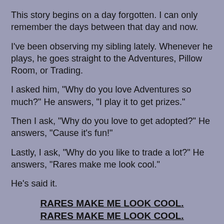This story begins on a day forgotten. I can only remember the days between that day and now.
I've been observing my sibling lately. Whenever he plays, he goes straight to the Adventures, Pillow Room, or Trading.
I asked him, "Why do you love Adventures so much?" He answers, "I play it to get prizes."
Then I ask, "Why do you love to get adopted?" He answers, "Cause it's fun!"
Lastly, I ask, "Why do you like to trade a lot?" He answers, "Rares make me look cool."
He's said it.
RARES MAKE ME LOOK COOL.
RARES MAKE ME LOOK COOL.
RARES MAKE ME LOOK COOL.
Is that sentence banging in your head now?